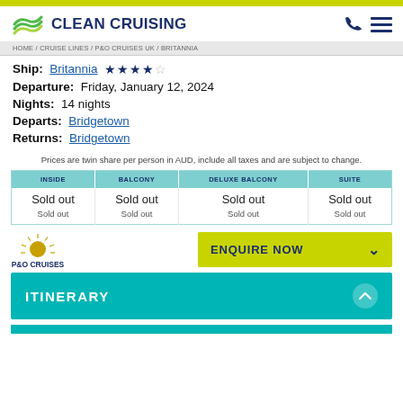CLEAN CRUISING
HOME / CRUISE LINES / P&O CRUISES UK / BRITANNIA
Ship: Britannia ★★★★☆
Departure: Friday, January 12, 2024
Nights: 14 nights
Departs: Bridgetown
Returns: Bridgetown
Prices are twin share per person in AUD, include all taxes and are subject to change.
| INSIDE | BALCONY | DELUXE BALCONY | SUITE |
| --- | --- | --- | --- |
| Sold out | Sold out | Sold out | Sold out |
| Sold out | Sold out | Sold out | Sold out |
ENQUIRE NOW
ITINERARY